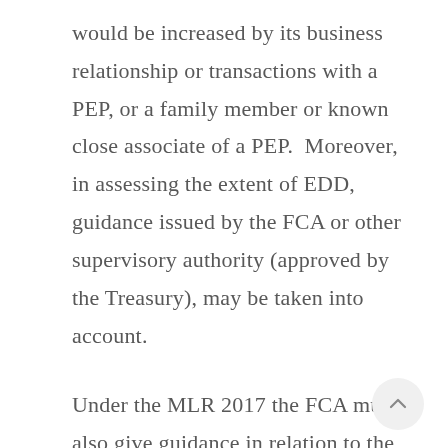would be increased by its business relationship or transactions with a PEP, or a family member or known close associate of a PEP.  Moreover, in assessing the extent of EDD, guidance issued by the FCA or other supervisory authority (approved by the Treasury), may be taken into account.
Under the MLR 2017 the FCA must also give guidance in relation to the treatment of PEPs by those who fall within its regulatory reach, defined in the guidance as any institution has its anti-money laundering systems and